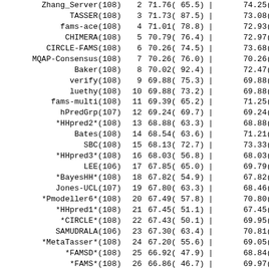| Name | Rank | Score1 | | | Score2 |
| --- | --- | --- | --- | --- |
| Zhang_Server(108) | 2 | 71.76( 65.5) | | | 74.25( |
| TASSER(108) | 3 | 71.73( 87.5) | | | 73.08( |
| fams-ace(108) | 4 | 71.01( 78.8) | | | 72.93( |
| CHIMERA(108) | 5 | 70.79( 76.4) | | | 72.97( |
| CIRCLE-FAMS(108) | 6 | 70.26( 74.5) | | | 73.68( |
| MQAP-Consensus(108) | 7 | 70.26( 76.0) | | | 70.26( |
| Baker(108) | 8 | 70.02( 92.4) | | | 72.47( |
| verify(108) | 9 | 69.88( 75.3) | | | 69.88( |
| luethy(108) | 10 | 69.88( 73.2) | | | 69.88( |
| fams-multi(108) | 11 | 69.39( 65.2) | | | 71.25( |
| hPredGrp(107) | 12 | 69.24( 69.7) | | | 69.24( |
| *HHpred2*(108) | 13 | 68.88( 63.3) | | | 68.88( |
| Bates(108) | 14 | 68.54( 63.6) | | | 71.21( |
| SBC(108) | 15 | 68.13( 72.7) | | | 73.33( |
| *HHpred3*(108) | 16 | 68.03( 56.8) | | | 68.03( |
| LEE(106) | 17 | 67.85( 65.0) | | | 69.79( |
| *BayesHH*(108) | 18 | 67.82( 54.9) | | | 67.82( |
| Jones-UCL(107) | 19 | 67.80( 63.3) | | | 68.46( |
| *Pmodeller6*(108) | 20 | 67.49( 57.8) | | | 70.80( |
| *HHpred1*(108) | 21 | 67.45( 51.1) | | | 67.45( |
| *CIRCLE*(108) | 22 | 67.43( 50.1) | | | 69.95( |
| SAMUDRALA(106) | 23 | 67.30( 63.4) | | | 70.81( |
| *MetaTasser*(108) | 24 | 67.20( 55.6) | | | 69.05( |
| *FAMSD*(108) | 25 | 66.92( 47.9) | | | 68.84( |
| *FAMS*(108) | 26 | 66.86( 46.7) | | | 69.97( |
| *ROBETTA*(107) | 27 | 66.86( 55.5) | | | 70.06( |
| *Pcons6*(108) | 28 | 66.72( 47.0) | | | 69.49( |
| SAMUDRALA-AB(106) | 29 | 66.49( 57.3) | | | 69.34( |
| *UNI-EID_expm*(107) | 30 | 66.43( 46.5) | | | 66.43( |
| andante(106) | 31 | 66.27( 56.1) | | | 68.22( |
| Sternberg(107) | 32 | 66.25( 47.9) | | | 67.03( |